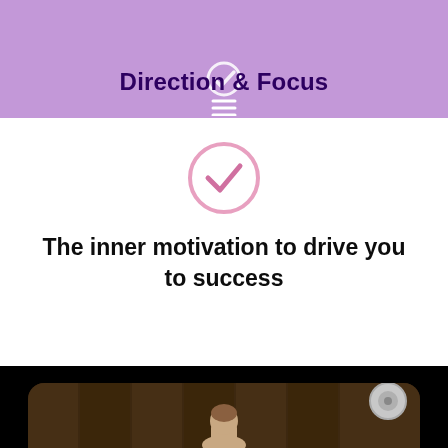[Figure (illustration): Purple header band with a white checkmark icon in a circle at top, and three horizontal lines (menu/list icon) below it]
Direction & Focus
[Figure (illustration): Pink outlined circle with a checkmark inside, centered on white background]
The inner motivation to drive you to success
[Figure (photo): Person in a gym setting with wooden wall panels and a fan visible in the upper right corner]